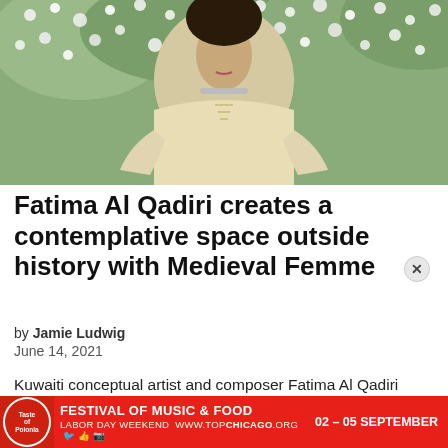[Figure (photo): A woman wearing a cream/white long-sleeved outfit with a silver choker necklace, standing in front of flowering bushes with white blooms. Her face is partially out of frame. The image is taken outdoors.]
Fatima Al Qadiri creates a contemplative space outside history with Medieval Femme
by Jamie Ludwig
June 14, 2021
Kuwaiti conceptual artist and composer Fatima Al Qadiri merges traditional Arabic poetry and futuristic electronics on her new album.
[Figure (infographic): Advertisement banner for Taste of Polonia festival. Red background with white and yellow text: FESTIVAL OF MUSIC & FOOD 02 - 05 SEPTEMBER. LABOR DAY WEEKEND WWW.TOPCHICAGO.ORG with social media icons. Red circular logo on left side reading Taste of Polonia.]